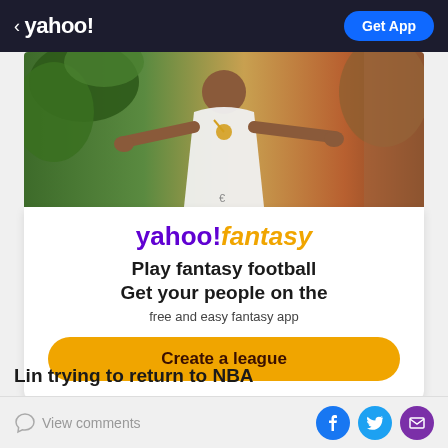< yahoo! | Get App
[Figure (photo): Person in white outfit with arms outstretched, standing in front of tropical plants and a building exterior]
[Figure (infographic): Yahoo Fantasy ad card with logo, text 'Play fantasy football Get your people on the free and easy fantasy app' and a 'Create a league' button]
Lin trying to return to NBA
View comments
[Figure (infographic): Social share icons: Facebook, Twitter, Email]